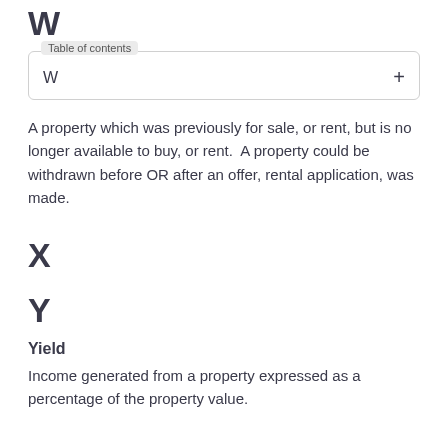W
Table of contents
W +
A property which was previously for sale, or rent, but is no longer available to buy, or rent. A property could be withdrawn before OR after an offer, rental application, was made.
X
Y
Yield
Income generated from a property expressed as a percentage of the property value.